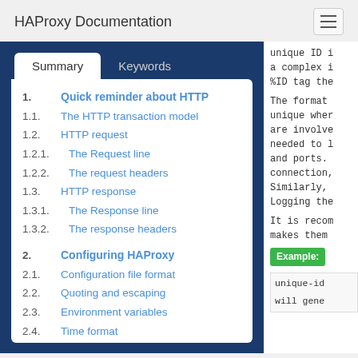HAProxy Documentation
1. Quick reminder about HTTP
1.1. The HTTP transaction model
1.2. HTTP request
1.2.1. The Request line
1.2.2. The request headers
1.3. HTTP response
1.3.1. The Response line
1.3.2. The response headers
2. Configuring HAProxy
2.1. Configuration file format
2.2. Quoting and escaping
2.3. Environment variables
2.4. Time format
2.5. Examples
3. Global parameters
unique ID i... a complex i... %ID tag the...
The format... unique wher... are involve... needed to l... and ports.... connection,... Similarly,... Logging the...
It is recom... makes them...
Example:
unique-id
will gene